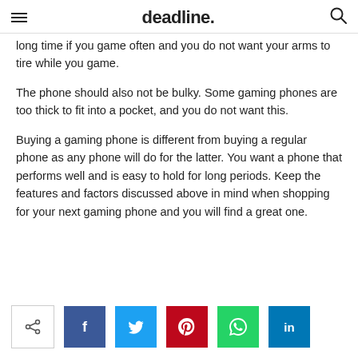deadline.
long time if you game often and you do not want your arms to tire while you game.
The phone should also not be bulky. Some gaming phones are too thick to fit into a pocket, and you do not want this.
Buying a gaming phone is different from buying a regular phone as any phone will do for the latter. You want a phone that performs well and is easy to hold for long periods. Keep the features and factors discussed above in mind when shopping for your next gaming phone and you will find a great one.